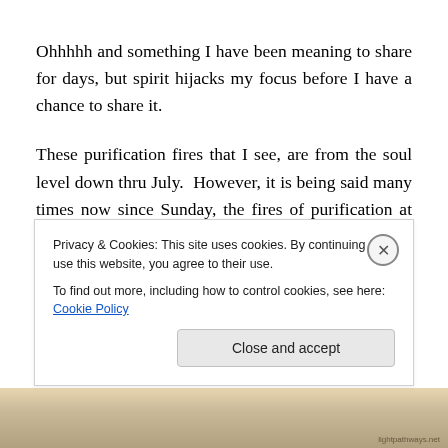Ohhhhh and something I have been meaning to share for days, but spirit hijacks my focus before I have a chance to share it.
These purification fires that I see, are from the soul level down thru July.  However, it is being said many times now since Sunday, the fires of purification at the ground level hasn't even started yet, but draws near.  One of my lady's mentioned about moving to Asheville and instantly her
Privacy & Cookies: This site uses cookies. By continuing to use this website, you agree to their use.
To find out more, including how to control cookies, see here: Cookie Policy